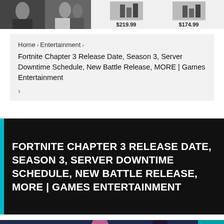[Figure (screenshot): Top banner showing a wedding photo on the left and two product images with prices $219.99 and $174.99 on the right]
Home › Entertainment › Fortnite Chapter 3 Release Date, Season 3, Server Downtime Schedule, New Battle Release, MORE | Games Entertainment ›
FORTNITE CHAPTER 3 RELEASE DATE, SEASON 3, SERVER DOWNTIME SCHEDULE, NEW BATTLE RELEASE, MORE | GAMES ENTERTAINMENT
[Figure (screenshot): Bottom portion of a Fortnite game screenshot showing characters with pink and dark hair]